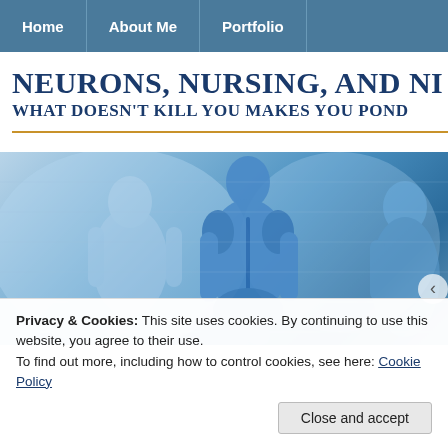Home | About Me | Portfolio
NEURONS, NURSING, AND NI
WHAT DOESN'T KILL YOU MAKES YOU POND
[Figure (illustration): Medical anatomical illustration showing blue-tinted muscular human figures (back views) against a light blue background with anatomical imagery]
Privacy & Cookies: This site uses cookies. By continuing to use this website, you agree to their use.
To find out more, including how to control cookies, see here: Cookie Policy
Close and accept